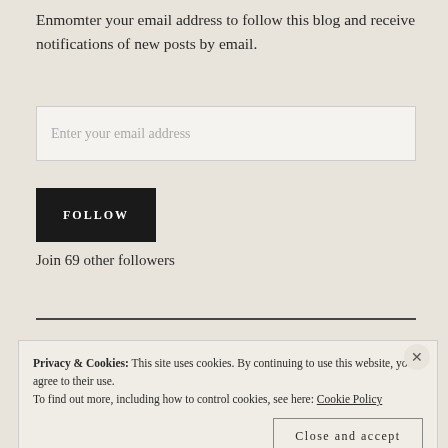Enmomter your email address to follow this blog and receive notifications of new posts by email.
Enter your email address
FOLLOW
Join 69 other followers
Privacy & Cookies: This site uses cookies. By continuing to use this website, you agree to their use. To find out more, including how to control cookies, see here: Cookie Policy
Close and accept